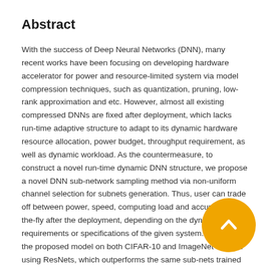Abstract
With the success of Deep Neural Networks (DNN), many recent works have been focusing on developing hardware accelerator for power and resource-limited system via model compression techniques, such as quantization, pruning, low-rank approximation and etc. However, almost all existing compressed DNNs are fixed after deployment, which lacks run-time adaptive structure to adapt to its dynamic hardware resource allocation, power budget, throughput requirement, as well as dynamic workload. As the countermeasure, to construct a novel run-time dynamic DNN structure, we propose a novel DNN sub-network sampling method via non-uniform channel selection for subnets generation. Thus, user can trade off between power, speed, computing load and accuracy on-the-fly after the deployment, depending on the dynamic requirements or specifications of the given system. We verify the proposed model on both CIFAR-10 and ImageNet dataset using ResNets, which outperforms the same sub-nets trained individually and other related works. It shows that, our method can achieve latency trade-off among 13.4, 24.6, 41.3, 62.1(ms) and 30.5, 38.7, 51, 65.4(ms) for GPU with 128 batch-size and CPU respectively on ImageNet using